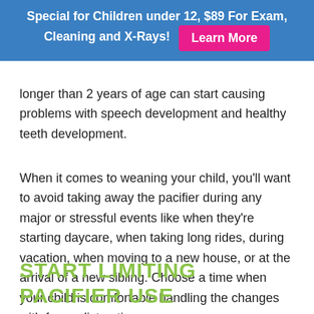Special for Children under 12, $89 For Exam, Cleaning and X-Rays! Learn More
longer than 2 years of age can start causing problems with speech development and healthy teeth development.
When it comes to weaning your child, you'll want to avoid taking away the pacifier during any major or stressful events like when they're starting daycare, when taking long rides, during vacation, when moving to a new house, or at the arrival of a new sibling. Choose a time when your child is comfortable handling the changes with fewer distractions.
START LIMITING PACIFIER USE